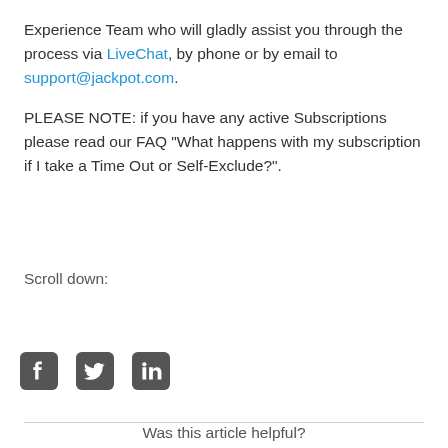Experience Team who will gladly assist you through the process via LiveChat, by phone or by email to support@jackpot.com.
PLEASE NOTE: if you have any active Subscriptions please read our FAQ “What happens with my subscription if I take a Time Out or Self-Exclude?”.
Scroll down:
[Figure (other): Social media icons: Facebook, Twitter, LinkedIn]
Was this article helpful?